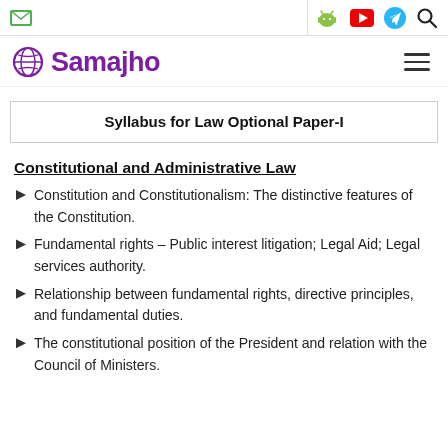Samajho — navigation bar with mail, android, youtube, telegram, search icons
Syllabus for Law Optional Paper-I
Constitutional and Administrative Law
Constitution and Constitutionalism: The distinctive features of the Constitution.
Fundamental rights – Public interest litigation; Legal Aid; Legal services authority.
Relationship between fundamental rights, directive principles, and fundamental duties.
The constitutional position of the President and relation with the Council of Ministers.